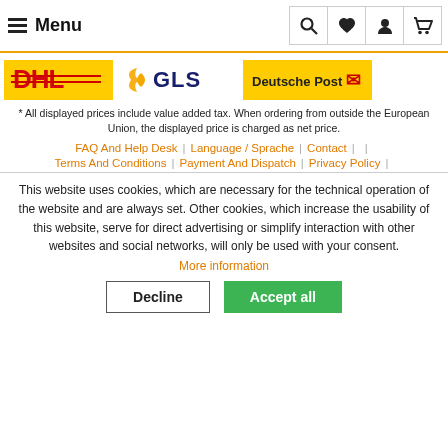Menu
[Figure (logo): DHL, GLS, and Deutsche Post shipping logos]
* All displayed prices include value added tax. When ordering from outside the European Union, the displayed price is charged as net price.
FAQ And Help Desk | Language / Sprache | Contact | |
Terms And Conditions | Payment And Dispatch | Privacy Policy |
This website uses cookies, which are necessary for the technical operation of the website and are always set. Other cookies, which increase the usability of this website, serve for direct advertising or simplify interaction with other websites and social networks, will only be used with your consent. More information